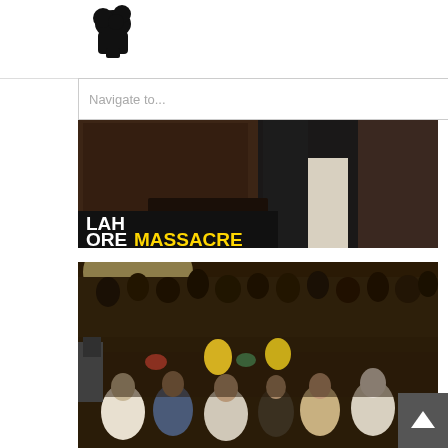Website header with logo and navigation
[Figure (photo): Lahore Massacre banner image showing text 'LAH ORE MASSACRE' overlaid on a dark photo of a person in a suit]
[Figure (photo): Large crowd of men seated and standing at an outdoor gathering at night, illuminated by bright lights]
[Figure (photo): Partial view of another crowd gathering, showing elderly man and others at night]